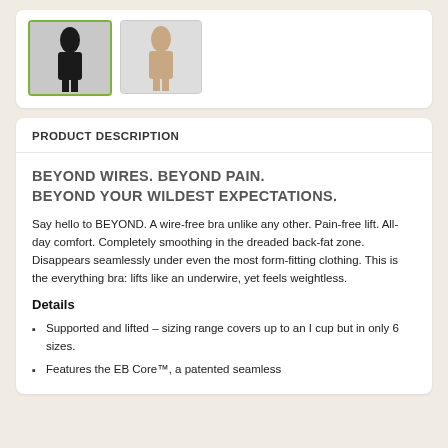[Figure (photo): Two product thumbnail images of a garment (shapewear/bra). The first thumbnail has a green border indicating it is selected, showing a black garment on a model. The second thumbnail is unselected showing a beige/nude garment on a model.]
PRODUCT DESCRIPTION
BEYOND WIRES. BEYOND PAIN. BEYOND YOUR WILDEST EXPECTATIONS.
Say hello to BEYOND. A wire-free bra unlike any other. Pain-free lift. All-day comfort. Completely smoothing in the dreaded back-fat zone. Disappears seamlessly under even the most form-fitting clothing. This is the everything bra: lifts like an underwire, yet feels weightless.
Details
Supported and lifted – sizing range covers up to an I cup but in only 6 sizes.
Features the EB Core™, a patented seamless